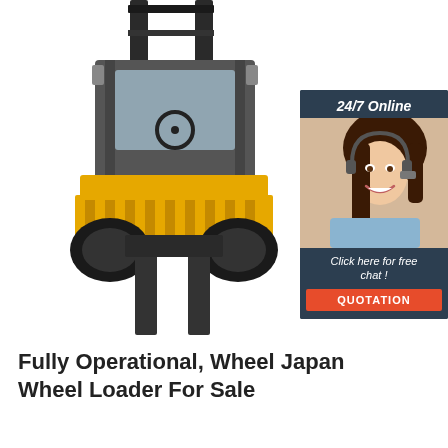[Figure (photo): Front view of a yellow and black forklift with two forks extended forward, shown against a white background. A customer service chat widget overlay appears in the upper right corner showing a woman with a headset, text '24/7 Online', 'Click here for free chat!', and an orange 'QUOTATION' button.]
Fully Operational, Wheel Japan Wheel Loader For Sale